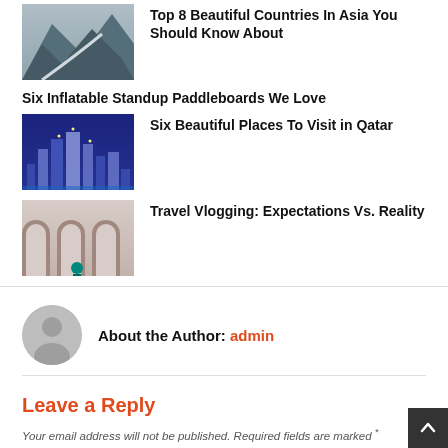[Figure (photo): Mountain landscape with winding road]
Top 8 Beautiful Countries In Asia You Should Know About
Six Inflatable Standup Paddleboards We Love
[Figure (photo): Qatar city skyline at night with modern buildings]
Six Beautiful Places To Visit in Qatar
[Figure (photo): Travel vlogging scene with ancient arches and a person with camera]
Travel Vlogging: Expectations Vs. Reality
About the Author: admin
Leave a Reply
Your email address will not be published. Required fields are marked *